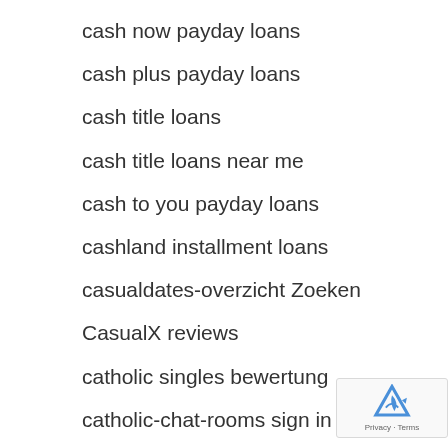cash now payday loans
cash plus payday loans
cash title loans
cash title loans near me
cash to you payday loans
cashland installment loans
casualdates-overzicht Zoeken
CasualX reviews
catholic singles bewertung
catholic-chat-rooms sign in
catholicmatch Chiacchierare